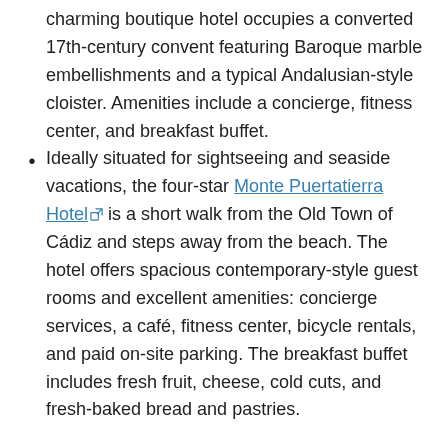charming boutique hotel occupies a converted 17th-century convent featuring Baroque marble embellishments and a typical Andalusian-style cloister. Amenities include a concierge, fitness center, and breakfast buffet.
Ideally situated for sightseeing and seaside vacations, the four-star Monte Puertatierra Hotel is a short walk from the Old Town of Cádiz and steps away from the beach. The hotel offers spacious contemporary-style guest rooms and excellent amenities: concierge services, a café, fitness center, bicycle rentals, and paid on-site parking. The breakfast buffet includes fresh fruit, cheese, cold cuts, and fresh-baked bread and pastries.